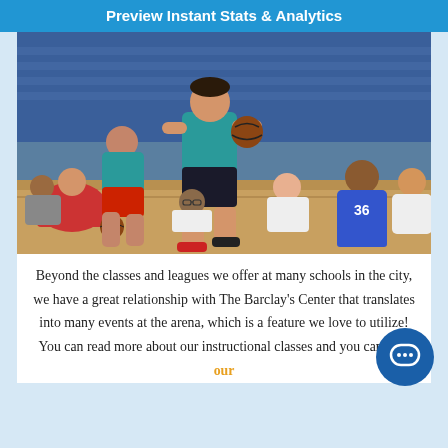Preview Instant Stats & Analytics
[Figure (photo): Youth basketball game indoors; a player in a teal NYC jersey dribbles the ball while others look on from the sidelines in a gymnasium with blue bleachers.]
Beyond the classes and leagues we offer at many schools in the city, we have a great relationship with The Barclay's Center that translates into many events at the arena, which is a feature we love to utilize! You can read more about our instructional classes and you can view our